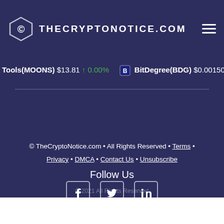THECRYPTONOTICE.COM
Tools(MOONS) $13.81 ↑ 0.00%  BitDegree(BDG) $0.001507 ↑ 0.00
© TheCryptoNotice.com • All Rights Reserved • Terms • Privacy • DMCA • Contact Us • Unsubscribe
Follow Us
[Figure (other): Social media icons: Facebook, Twitter, LinkedIn]
© 2021 All Rights Reserved